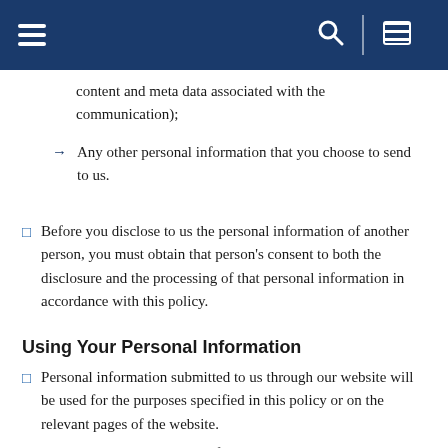[navigation bar with hamburger menu, search icon, and list icon]
content and meta data associated with the communication);
Any other personal information that you choose to send to us.
Before you disclose to us the personal information of another person, you must obtain that person's consent to both the disclosure and the processing of that personal information in accordance with this policy.
Using Your Personal Information
Personal information submitted to us through our website will be used for the purposes specified in this policy or on the relevant pages of the website.
We may use your personal information to:
Administer our website and business;